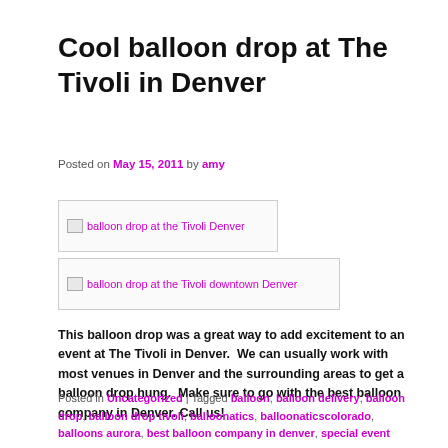Cool balloon drop at The Tivoli in Denver
Posted on May 15, 2011 by amy
[Figure (photo): Image placeholder: balloon drop at the Tivoli Denver]
[Figure (photo): Image placeholder: balloon drop at the Tivoli downtown Denver]
This balloon drop was a great way to add excitement to an event at The Tivoli in Denver.  We can usually work with most venues in Denver and the surrounding areas to get a balloon drop hung.  Make sure to go with the best balloon company in Denver.  Call us!
Posted in Uncategorized | Tagged balloon, balloon delivery, balloon drop, balloon drop tivoli, balloonatics, balloonaticscolorado, balloons aurora, best balloon company in denver, special event